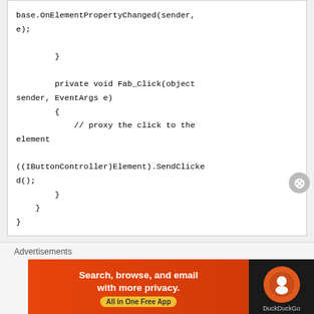base.OnElementPropertyChanged(sender, e);

        }

        private void Fab_Click(object sender, EventArgs e)
        {
            // proxy the click to the element

((IButtonController)Element).SendClicked();
        }
    }
}
Advertisements
Advertisements
[Figure (other): DuckDuckGo advertisement banner: orange background with text 'Search, browse, and email with more privacy. All in One Free App' and DuckDuckGo logo on dark background]